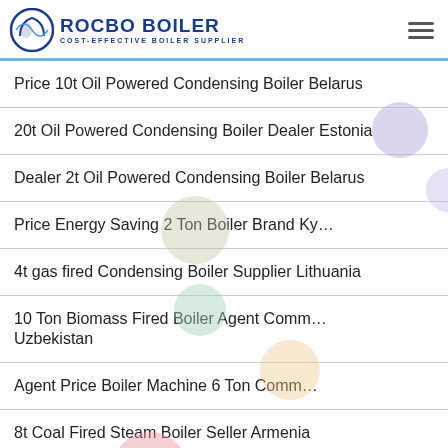ROCBO BOILER COST-EFFECTIVE BOILER SUPPLIER
Price 10t Oil Powered Condensing Boiler Belarus
20t Oil Powered Condensing Boiler Dealer Estonia
Dealer 2t Oil Powered Condensing Boiler Belarus
Price Energy Saving 2 Ton Boiler Brand Ky...
4t gas fired Condensing Boiler Supplier Lithuania
10 Ton Biomass Fired Boiler Agent Comm... Uzbekistan
Agent Price Boiler Machine 6 Ton Comm...
8t Coal Fired Steam Boiler Seller Armenia